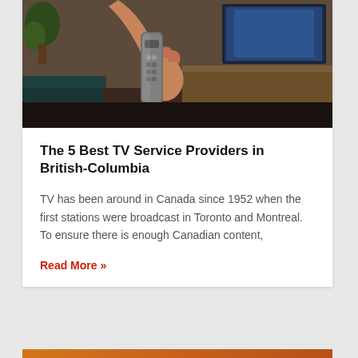[Figure (photo): A hand holding a TV remote control, with a living room and TV in the background]
The 5 Best TV Service Providers in British-Columbia
TV has been around in Canada since 1952 when the first stations were broadcast in Toronto and Montreal. To ensure there is enough Canadian content,
Read More »